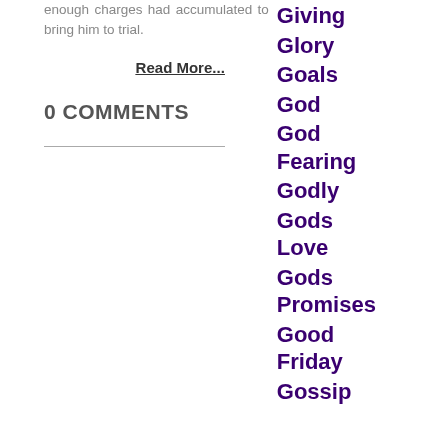enough charges had accumulated to bring him to trial.
Read More...
0 COMMENTS
Giving
Glory
Goals
God
God Fearing
Godly
Gods Love
Gods Promises
Good Friday
Gossip